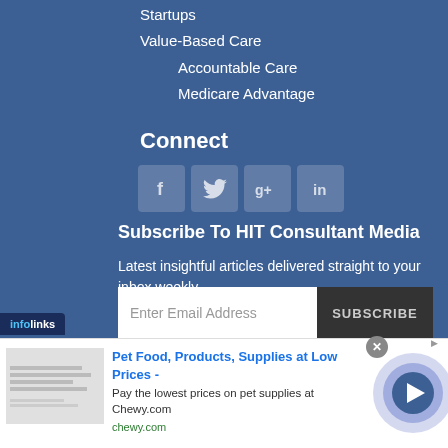Startups
Value-Based Care
Accountable Care
Medicare Advantage
Connect
[Figure (other): Social media icons for Facebook, Twitter, Google+, and LinkedIn]
Subscribe To HIT Consultant Media
Latest insightful articles delivered straight to your inbox weekly
[Figure (other): Email subscription form with 'Enter Email Address' input and 'SUBSCRIBE' button]
[Figure (other): Infolinks badge]
[Figure (other): Advertisement: Pet Food, Products, Supplies at Low Prices - Chewy.com]